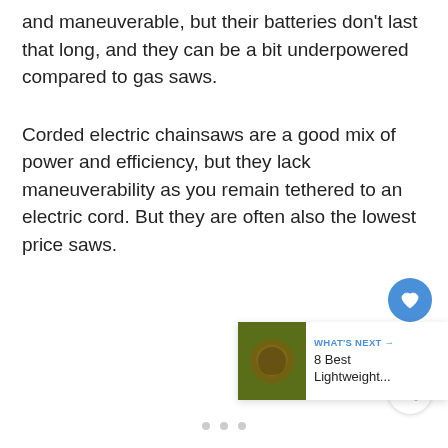and maneuverable, but their batteries don't last that long, and they can be a bit underpowered compared to gas saws.
Corded electric chainsaws are a good mix of power and efficiency, but they lack maneuverability as you remain tethered to an electric cord. But they are often also the lowest price saws.
[Figure (screenshot): UI overlay with heart/like button (blue circle), count of 3, share button (white circle), and a 'What's Next' card showing a thumbnail image and text '8 Best Lightweight...']